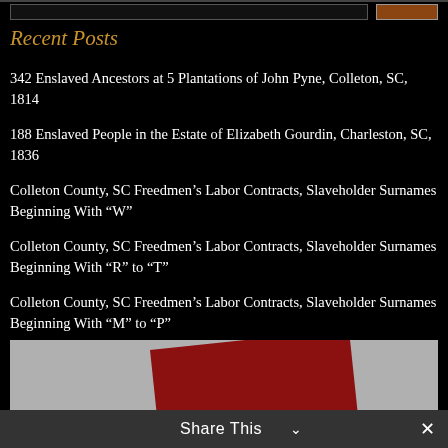Recent Posts
342 Enslaved Ancestors at 5 Plantations of John Pyne, Colleton, SC, 1814
188 Enslaved People in the Estate of Elizabeth Gourdin, Charleston, SC, 1836
Colleton County, SC Freedmen's Labor Contracts, Slaveholder Surnames Beginning With “W”
Colleton County, SC Freedmen's Labor Contracts, Slaveholder Surnames Beginning With “R” to “T”
Colleton County, SC Freedmen's Labor Contracts, Slaveholder Surnames Beginning With “M” to “P”
[Figure (screenshot): Share This bar at the bottom with a dark red book cover partially visible above a gray background, and a close button (x) on the right.]